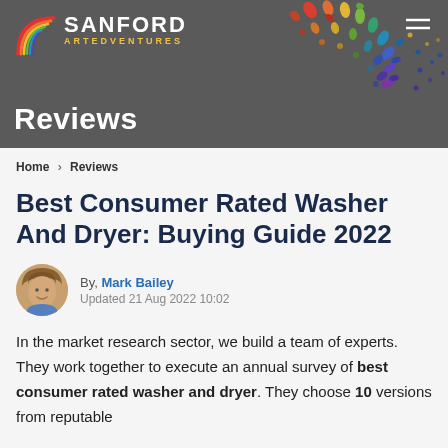SANFORD ARTEDVENTURES — Reviews
Home > Reviews
Best Consumer Rated Washer And Dryer: Buying Guide 2022
By, Mark Bailey
Updated 21 Aug 2022 10:02
In the market research sector, we build a team of experts. They work together to execute an annual survey of best consumer rated washer and dryer. They choose 10 versions from reputable